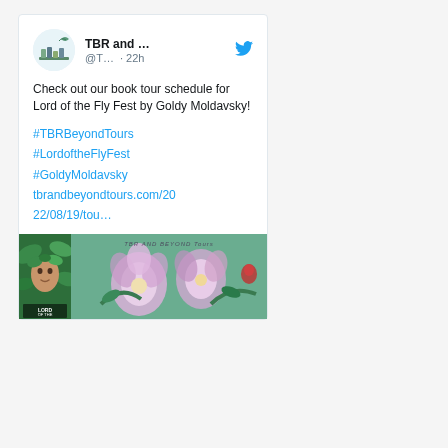[Figure (screenshot): Screenshot of a Twitter/X post by TBR and ... (@T...) posted 22h ago. The tweet reads: 'Check out our book tour schedule for Lord of the Fly Fest by Goldy Moldavsky! #TBRBeyondTours #LordoftheFlyFest #GoldyMoldavsky tbrandbeyondtours.com/2022/08/19/tou…' with an attached image showing a book cover for Lord of the Fly Fest and a floral banner image.]